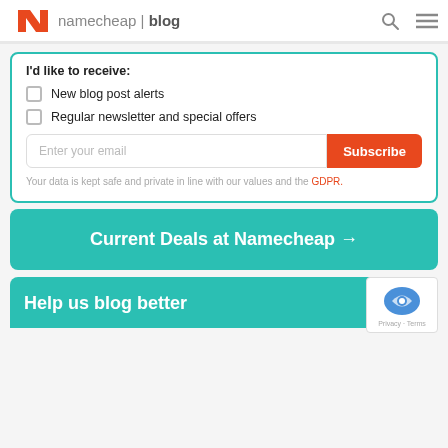namecheap | blog
I'd like to receive:
New blog post alerts
Regular newsletter and special offers
Enter your email
Subscribe
Your data is kept safe and private in line with our values and the GDPR.
Current Deals at Namecheap →
Help us blog better